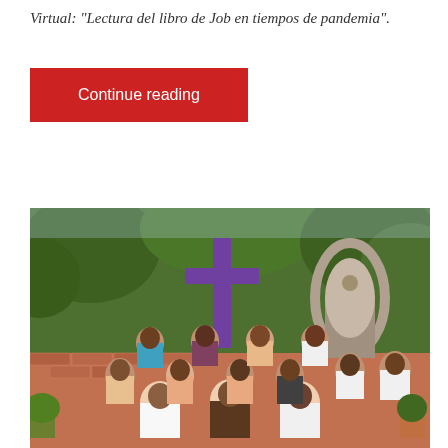Virtual: 'Lectura del libro de Job en tiempos de pandemia'.
Continue reading
[Figure (photo): Group photo of approximately 15 people (religious and lay community members) posing outdoors in front of a large purple cross and a stone grotto/shrine area with lush greenery. Three men are seated in the front row, several women and men stand in the middle and back rows. The setting appears to be a garden courtyard with brick walls and potted plants.]